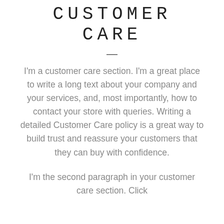CUSTOMER CARE
I'm a customer care section. I'm a great place to write a long text about your company and your services, and, most importantly, how to contact your store with queries. Writing a detailed Customer Care policy is a great way to build trust and reassure your customers that they can buy with confidence.
I'm the second paragraph in your customer care section. Click here to add your own text and edit me. It's easy.